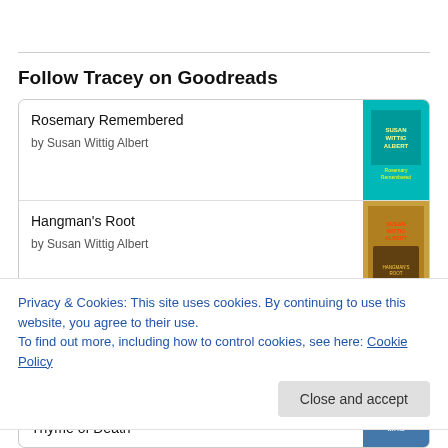Follow Tracey on Goodreads
Rosemary Remembered by Susan Wittig Albert
Hangman's Root by Susan Wittig Albert
Feather & Flame
Privacy & Cookies: This site uses cookies. By continuing to use this website, you agree to their use. To find out more, including how to control cookies, see here: Cookie Policy
Thyme of Death